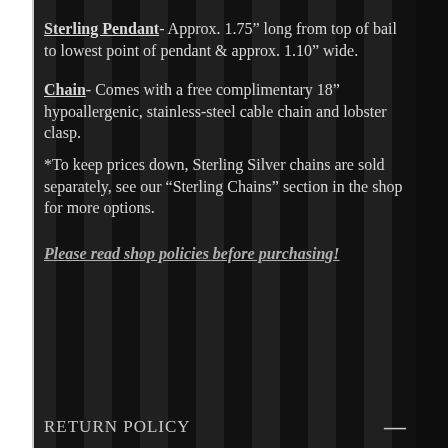Sterling Pendant- Approx. 1.75" long from top of bail to lowest point of pendant & approx. 1.10" wide.
Chain- Comes with a free complimentary 18" hypoallergenic, stainless-steel cable chain and lobster clasp. *To keep prices down, Sterling Silver chains are sold separately, see our "Sterling Chains" section in the shop for more options.
Please read shop policies before purchasing!
RETURN POLICY